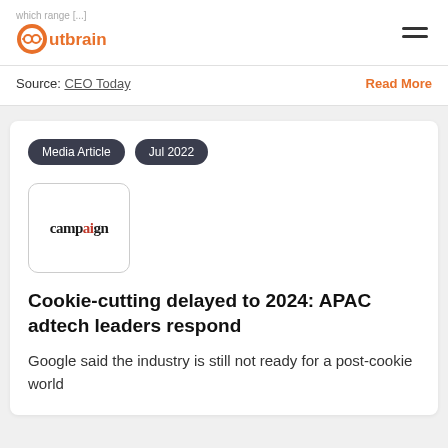which range [...]
Outbrain
Source: CEO Today    Read More
Media Article   Jul 2022
[Figure (logo): Campaign magazine logo in a rounded rectangle box]
Cookie-cutting delayed to 2024: APAC adtech leaders respond
Google said the industry is still not ready for a post-cookie world